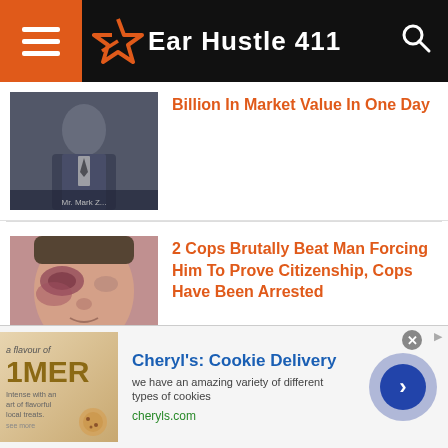Ear Hustle 411
Billion In Market Value In One Day
2 Cops Brutally Beat Man Forcing Him To Prove Citizenship, Cops Have Been Arrested
New York Gov. Andrew Cuomo Pardons Immigrants Who Committed Crimes & Facing Deportation
[Figure (screenshot): Advertisement banner for Cheryl's Cookie Delivery with logo, description text, cheryls.com URL, and a navigation arrow button]